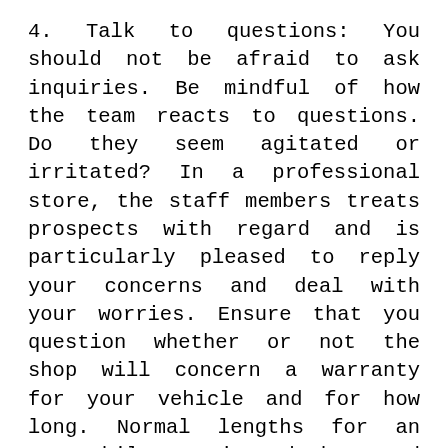4. Talk to questions: You should not be afraid to ask inquiries. Be mindful of how the team reacts to questions. Do they seem agitated or irritated? In a professional store, the staff members treats prospects with regard and is particularly pleased to reply your concerns and deal with your worries. Ensure that you question whether or not the shop will concern a warranty for your vehicle and for how long. Normal lengths for an automobile entire body mend store will be approximately two yrs. It is also vital that you In case the shop has insurance in case of a fireplace or theft. Just in case your vehicle sustains injury although in the auto body restore shop's treatment, you'd like